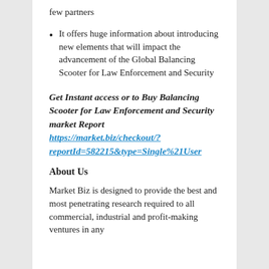few partners
It offers huge information about introducing new elements that will impact the advancement of the Global Balancing Scooter for Law Enforcement and Security
Get Instant access or to Buy Balancing Scooter for Law Enforcement and Security market Report https://market.biz/checkout/?reportId=582215&type=Single%21User
About Us
Market Biz is designed to provide the best and most penetrating research required to all commercial, industrial and profit-making ventures in any